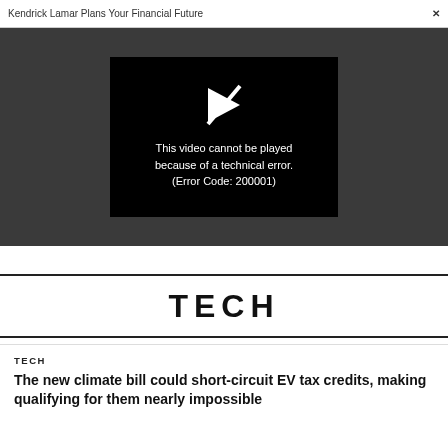Kendrick Lamar Plans Your Financial Future  ×
[Figure (screenshot): A video player showing an error message on a dark gray background. The player displays a play icon with a slash through it and the text: This video cannot be played because of a technical error. (Error Code: 200001)]
TECH
TECH
The new climate bill could short-circuit EV tax credits, making qualifying for them nearly impossible